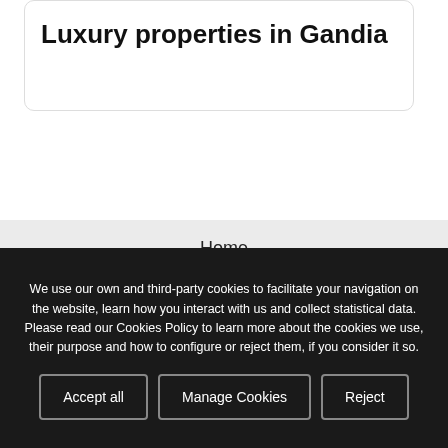Luxury properties in Gandia
Home
For sale
For rent
We use our own and third-party cookies to facilitate your navigation on the website, learn how you interact with us and collect statistical data. Please read our Cookies Policy to learn more about the cookies we use, their purpose and how to configure or reject them, if you consider it so.
Accept all
Manage Cookies
Reject